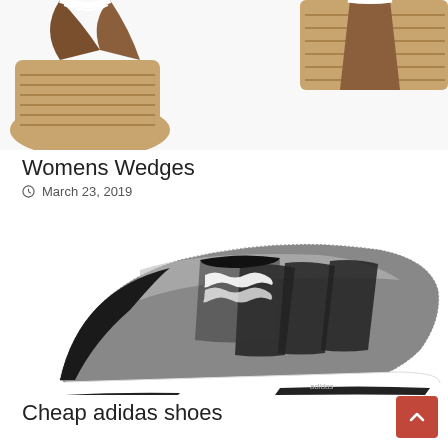[Figure (photo): Partial view of womens wedge sandals with brown leather straps and woven espadrille wedge sole on white background]
Womens Wedges
March 23, 2019
[Figure (photo): Adidas black and grey knit sneaker with white sole on white background]
Cheap adidas shoes